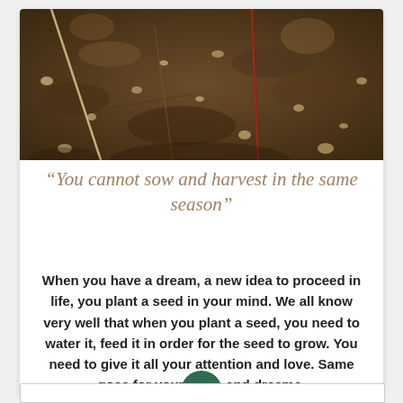[Figure (photo): Close-up macro photograph of soil, seeds, and a thin reddish plant stem or twig sprouting from dark earthy ground with small pebbles and organic debris.]
“You cannot sow and harvest in the same season”
When you have a dream, a new idea to proceed in life, you plant a seed in your mind. We all know very well that when you plant a seed, you need to water it, feed it in order for the seed to grow. You need to give it all your attention and love. Same goes for your ideas and dreams.